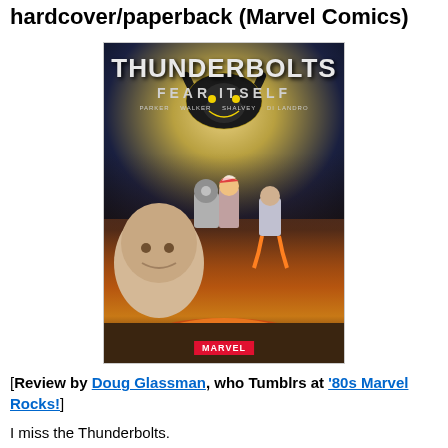hardcover/paperback (Marvel Comics)
[Figure (photo): Book cover of 'Thunderbolts: Fear Itself' published by Marvel Comics. The cover shows the title 'THUNDERBOLTS' in large letters at the top, with 'FEAR ITSELF' below it, and creator credits: Parker, Walker, Shalvey, Di Landro. The artwork depicts several superhero/villain characters against a dramatic background with a villain silhouette, explosions, and a sunset sky.]
[Review by Doug Glassman, who Tumblrs at '80s Marvel Rocks!]
I miss the Thunderbolts.